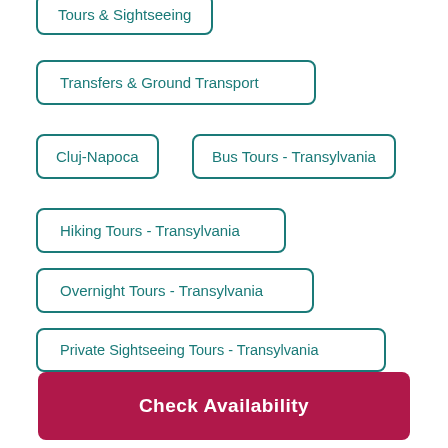Tours & Sightseeing
Transfers & Ground Transport
Cluj-Napoca
Bus Tours - Transylvania
Hiking Tours - Transylvania
Overnight Tours - Transylvania
Private Sightseeing Tours - Transylvania
Nature and Wildlife Tours - Transylvania
Photography Tours - Transylvania
Check Availability